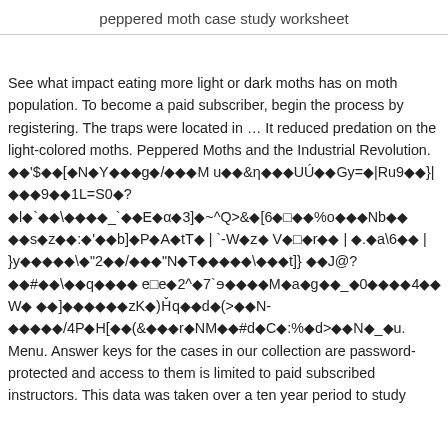peppered moth case study worksheet
See what impact eating more light or dark moths has on moth population. To become a paid subscriber, begin the process by registering. The traps were located in … It reduced predation on the light-colored moths. Peppered Moths and the Industrial Revolution. ◆◆'$◆◆[◆N◆Y◆◆◆g◆/◆◆◆M u◆◆&η◆◆◆UÚ◆◆Gy=◆|Ru9◆◆}| ◆◆◆9◆◆1L=S0◆? ◆l◆`◆◆\◆◆◆◆_`◆◆E◆α◆3]◆~^Q>&◆[6◆□◆◆%o◆◆◆Nb◆◆ ◆◆s◆z◆◆:◆'◆◆b]◆P◆A◆tT◆ | `-W◆z◆ V◆□◆r◆◆ | ◆.◆a\6◆◆ | }y◆◆◆◆◆\◆"2◆◆/◆◆◆"N◆T◆◆◆◆◆\◆◆◆t]} ◆◆J@?◆◆#◆◆\◆◆q◆◆◆◆ e□e◆2^◆7`ɘ◆◆◆◆M◆a◆g◆◆_◆0◆◆◆◆4◆◆ W◆ ◆◆]◆◆◆◆◆◆zK◆)Ȟq◆◆d◆(>◆◆N- ◆◆◆◆◆/4P◆H[◆◆(&◆◆◆r◆NM◆◆#d◆C◆:%◆d>◆◆N◆_◆u. Menu. Answer keys for the cases in our collection are password-protected and access to them is limited to paid subscribed instructors. This data was taken over a ten year period to study